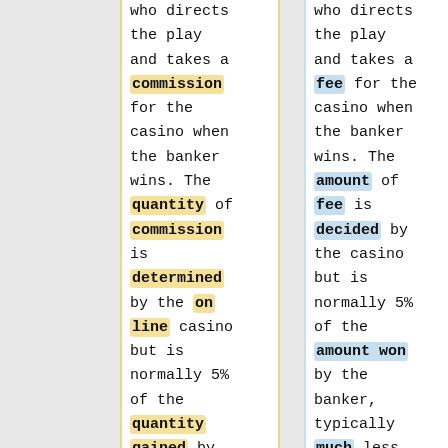who directs the play and takes a commission for the casino when the banker wins. The quantity of commission is determined by the on line casino but is normally 5% of the quantity gained by the banker, typically less. The
who directs the play and takes a fee for the casino when the banker wins. The amount of fee is decided by the casino but is normally 5% of the amount won by the banker, typically much less. The croupier makes use